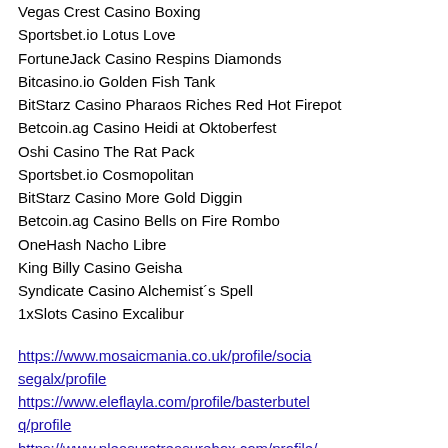Vegas Crest Casino Boxing
Sportsbet.io Lotus Love
FortuneJack Casino Respins Diamonds
Bitcasino.io Golden Fish Tank
BitStarz Casino Pharaos Riches Red Hot Firepot
Betcoin.ag Casino Heidi at Oktoberfest
Oshi Casino The Rat Pack
Sportsbet.io Cosmopolitan
BitStarz Casino More Gold Diggin
Betcoin.ag Casino Bells on Fire Rombo
OneHash Nacho Libre
King Billy Casino Geisha
Syndicate Casino Alchemist´s Spell
1xSlots Casino Excalibur
https://www.mosaicmania.co.uk/profile/sociasegalx/profile
https://www.eleflayla.com/profile/basterbutelq/profile
https://www.pleasuretreasurebox.com/profile/lashersochanv/profile